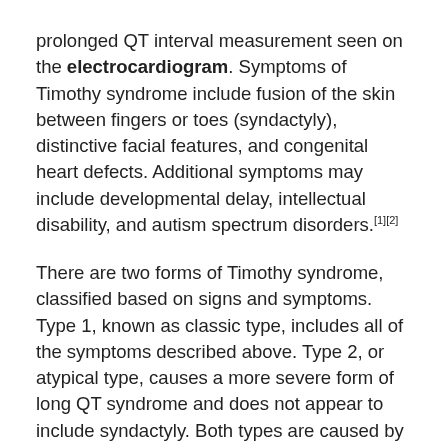prolonged QT interval measurement seen on the electrocardiogram. Symptoms of Timothy syndrome include fusion of the skin between fingers or toes (syndactyly), distinctive facial features, and congenital heart defects. Additional symptoms may include developmental delay, intellectual disability, and autism spectrum disorders.[1][2]
There are two forms of Timothy syndrome, classified based on signs and symptoms. Type 1, known as classic type, includes all of the symptoms described above. Type 2, or atypical type, causes a more severe form of long QT syndrome and does not appear to include syndactyly. Both types are caused by mutations in the CACNA1C gene and are inherited in an autosomal dominant manner.[1][2] Treatment is focused on managing cardiac symptoms. This